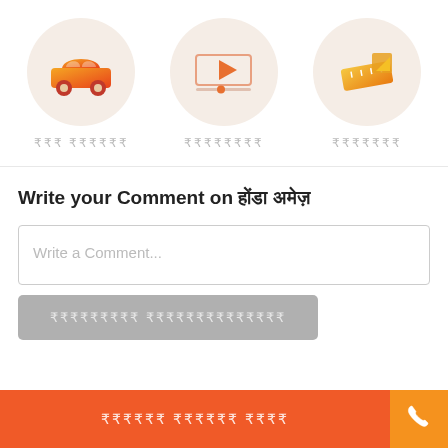[Figure (infographic): Three circular icons: a car icon (orange), a video player icon (orange/gray), and a ruler/measurement icon (orange/gold), each in a light peach circle with Hindi text labels below]
Write your Comment on [Hindi text]
Write a Comment...
[Hindi button text - gray button]
[Hindi text - orange bottom button]